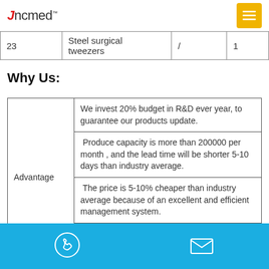Jncmed
| 23 | Steel surgical tweezers | / | 1 |
| --- | --- | --- | --- |
Why Us:
| Advantage |  |
| --- | --- |
| Advantage | We invest 20% budget in R&D ever year, to guarantee our products update. |
|  | Produce capacity is more than 200000 per month , and the lead time will be shorter 5-10 days than industry average. |
|  | The price is 5-10% cheaper than industry average because of an excellent and efficient management system. |
|  | Our first aid kits and contents with high quality and solo design are popular in |
Contact icons: phone, email